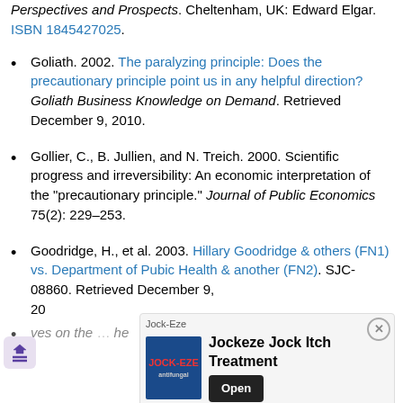Perspectives and Prospects. Cheltenham, UK: Edward Elgar. ISBN 1845427025.
Goliath. 2002. The paralyzing principle: Does the precautionary principle point us in any helpful direction? Goliath Business Knowledge on Demand. Retrieved December 9, 2010.
Gollier, C., B. Jullien, and N. Treich. 2000. Scientific progress and irreversibility: An economic interpretation of the "precautionary principle." Journal of Public Economics 75(2): 229–253.
Goodridge, H., et al. 2003. Hillary Goodridge & others (FN1) vs. Department of Pubic Health & another (FN2). SJC-08860. Retrieved December 9, 20[...]
[...] ves on the [...] he [...]